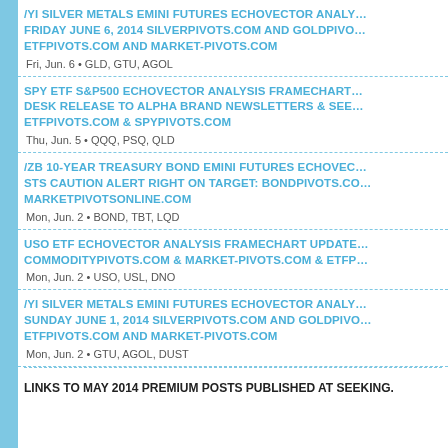/YI SILVER METALS EMINI FUTURES ECHOVECTOR ANALY... FRIDAY JUNE 6, 2014 SILVERPIVOTS.COM AND GOLDPIVO... ETFPIVOTS.COM AND MARKET-PIVOTS.COM
Fri, Jun. 6 • GLD, GTU, AGOL
SPY ETF S&P500 ECHOVECTOR ANALYSIS FRAMECHART... DESK RELEASE TO ALPHA BRAND NEWSLETTERS & SEE... ETFPIVOTS.COM & SPYPIVOTS.COM
Thu, Jun. 5 • QQQ, PSQ, QLD
/ZB 10-YEAR TREASURY BOND EMINI FUTURES ECHOVEC... STS CAUTION ALERT RIGHT ON TARGET: BONDPIVOTS.CO... MARKETPIVOTSONLINE.COM
Mon, Jun. 2 • BOND, TBT, LQD
USO ETF ECHOVECTOR ANALYSIS FRAMECHART UPDATE... COMMODITYPIVOTS.COM & MARKET-PIVOTS.COM & ETFP...
Mon, Jun. 2 • USO, USL, DNO
/YI SILVER METALS EMINI FUTURES ECHOVECTOR ANALY... SUNDAY JUNE 1, 2014 SILVERPIVOTS.COM AND GOLDPIVO... ETFPIVOTS.COM AND MARKET-PIVOTS.COM
Mon, Jun. 2 • GTU, AGOL, DUST
LINKS TO MAY 2014 PREMIUM POSTS PUBLISHED AT SEEKING.